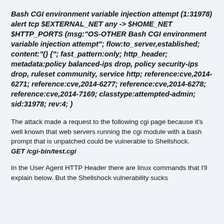Bash CGI environment variable injection attempt (1:31978) alert tcp $EXTERNAL_NET any -> $HOME_NET $HTTP_PORTS (msg:"OS-OTHER Bash CGI environment variable injection attempt"; flow:to_server,established; content:"() {"; fast_pattern:only; http_header; metadata:policy balanced-ips drop, policy security-ips drop, ruleset community, service http; reference:cve,2014-6271; reference:cve,2014-6277; reference:cve,2014-6278; reference:cve,2014-7169; classtype:attempted-admin; sid:31978; rev:4; )
The attack made a request to the following cgi page because it's well known that web servers running the cgi module with a bash prompt that is unpatched could be vulnerable to Shellshock.
GET /cgi-bin/test.cgi
In the User Agent HTTP Header there are linux commands that I'll explain below. But the Shellshock vulnerability sucks